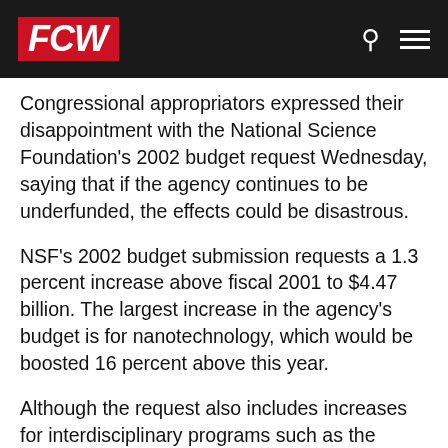FCW
Congressional appropriators expressed their disappointment with the National Science Foundation's 2002 budget request Wednesday, saying that if the agency continues to be underfunded, the effects could be disastrous.
NSF's 2002 budget submission requests a 1.3 percent increase above fiscal 2001 to $4.47 billion. The largest increase in the agency's budget is for nanotechnology, which would be boosted 16 percent above this year.
Although the request also includes increases for interdisciplinary programs such as the Information Technology Research program and education programs such as the Partnership for Math and Science Education, funding for the agency's core disciplines would be relatively flat.